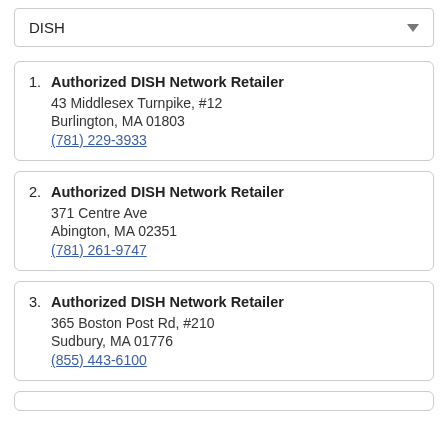DISH
1. Authorized DISH Network Retailer
43 Middlesex Turnpike, #12
Burlington, MA 01803
(781) 229-3933
2. Authorized DISH Network Retailer
371 Centre Ave
Abington, MA 02351
(781) 261-9747
3. Authorized DISH Network Retailer
365 Boston Post Rd, #210
Sudbury, MA 01776
(855) 443-6100